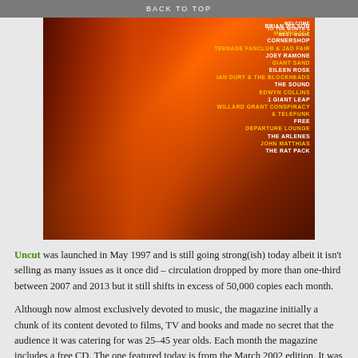BACK TO TOP
[Figure (photo): Album cover image with dark orange/red street scene background listing artists: Brian Wilson, Morrissey, Cornershop, Teenage Fanclub & Jad Fair, Joey Ramone, Giant Sand, Eileen Rose, Ian Dury & The Blockheads, The Sound, Edwyn Collins, 1 Giant Leap, Willard Grant Conspiracy & Telefunk, Free, Departure Lounge, The Arlenes, John Matthias, The Rat Pack]
Uncut was launched in May 1997 and is still going strong(ish) today albeit it isn't selling as many issues as it once did – circulation dropped by more than one-third between 2007 and 2013 but it still shifts in excess of 50,000 copies each month.
Although now almost exclusively devoted to music, the magazine initially a chunk of its content devoted to films, TV and books and made no secret that the audience it was catering for was 25–45 year olds. Each month the magazine includes a free CD. The one featured today is from the March 2002 edition. It was plucked at random from a pile sitting on a pile on the floor – at least this one had been opened and listened to. Far too often I've taken the CD from a monthly magazine and having looked at who was included and nor